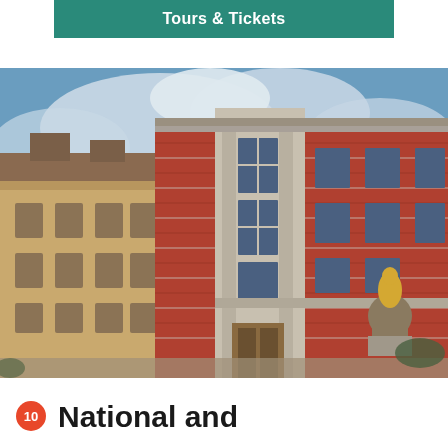Tours & Tickets
[Figure (photo): Exterior view of a historic European building with red brick facade, large windows, stone detailing, and a golden lion statue in the foreground, under a partly cloudy blue sky. An adjacent older yellow building is visible on the left.]
10 National and